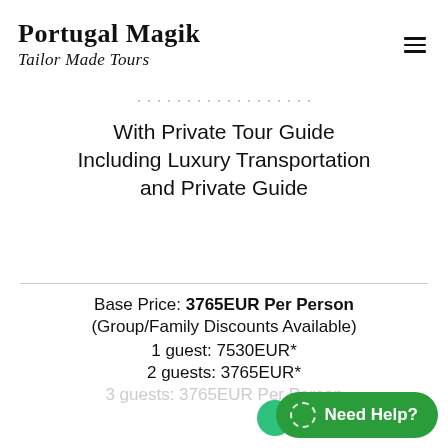Portugal Magik Tailor Made Tours
With Private Tour Guide Including Luxury Transportation and Private Guide
Base Price: 3765EUR Per Person (Group/Family Discounts Available)
1 guest: 7530EUR*
2 guests: 3765EUR*
3 guests: 3765EUR Per Person